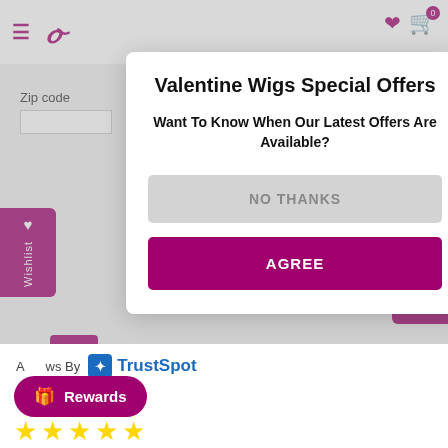[Figure (screenshot): Website navigation bar with hamburger menu icon, logo 'S', and shopping cart icon with badge '0']
Valentine Wigs Special Offers
Want To Know When Our Latest Offers Are Available?
NO THANKS
AGREE
Refund Policy
A   ws By TrustSpot
Rewards